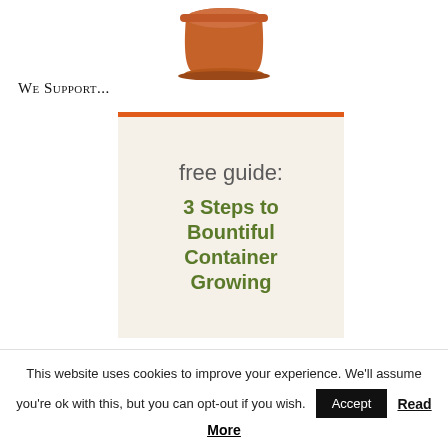[Figure (photo): Terracotta flower pot with saucer, partially visible at top of page]
We Support...
[Figure (infographic): Promotional box with orange top border on a cream/beige textured background. Text reads 'free guide:' in gray and '3 Steps to Bountiful Container Growing' in olive green bold text.]
This website uses cookies to improve your experience. We'll assume you're ok with this, but you can opt-out if you wish.
Accept
Read More